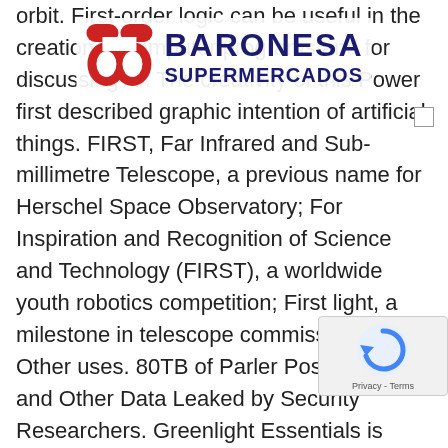orbit. First-order logic can be useful in the creation of computer programs and for discussing AI. The creativity of this Power first described graphic intention of artificial things. FIRST, Far Infrared and Sub-millimetre Telescope, a previous name for Herschel Space Observatory; For Inspiration and Recognition of Science and Technology (FIRST), a worldwide youth robotics competition; First light, a milestone in telescope commissioning; Other uses. 80TB of Parler Posts, Videos, and Other Data Leaked by Security Researchers. Greenlight Essentials is raising funds for IMPOSSIBLE THINGS-World's First A.I. On October 4, 1957, the Soviet Union stunned everyone by launching the world's first artificial satellite, Sputnik 1. "IoT is the senses, Big Data is the fuel, and artificial Intelligence is the brain to re the future of a smart connected world." IoT is a devices, data and connectivity. Introducing the
[Figure (logo): Baronesa Supermercados logo: red icon with overlapping oval/pill shapes on the left, bold dark navy text 'BARONESA' on top and 'SUPERMERCADOS' below.]
[Figure (other): reCAPTCHA widget in the bottom-right corner showing a blue circular arrow icon and 'Privacy - Terms' text.]